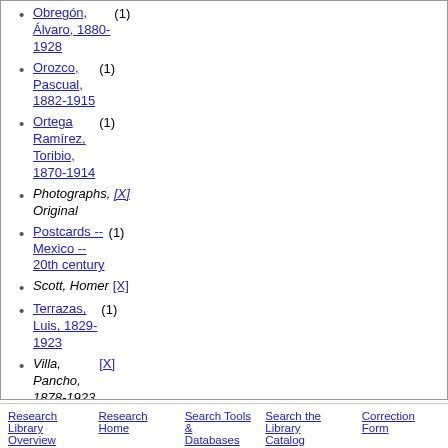Obregón, Álvaro, 1880-1928 (1)
Orozco, Pascual, 1882-1915 (1)
Ortega Ramírez, Toribio, 1870-1914 (1)
Photographs, Original [X]
Postcards -- Mexico -- 20th century (1)
Scott, Homer [X]
Terrazas, Luis, 1829-1923 (1)
Villa, Pancho, 1878-1923 [X]
Villegas (1)
Zapata, Emiliano, 1879-1919 (1)
Research Library Overview   Research Home   Search Tools & Databases   Search the Library Catalog   Correction Form